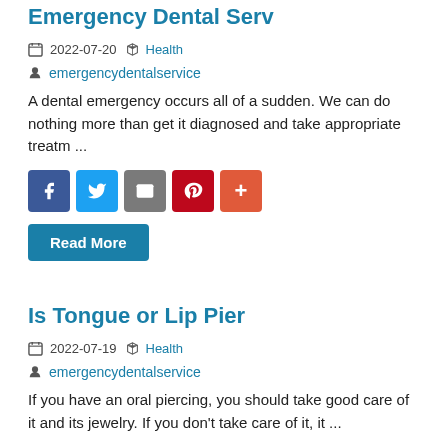Emergency Dental Serv
2022-07-20  Health
emergencydentalservice
A dental emergency occurs all of a sudden. We can do nothing more than get it diagnosed and take appropriate treatm ...
[Social share buttons: Facebook, Twitter, Email, Pinterest, Plus]
Read More
Is Tongue or Lip Pier
2022-07-19  Health
emergencydentalservice
If you have an oral piercing, you should take good care of it and its jewelry. If you don't take care of it, it ...